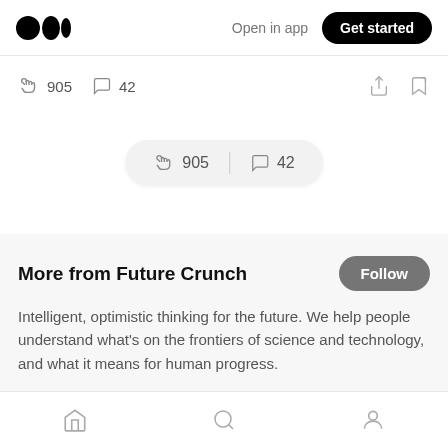Medium logo | Open in app | Get started
905 claps  42 comments
905  |  42
More from Future Crunch
Intelligent, optimistic thinking for the future. We help people understand what's on the frontiers of science and technology, and what it means for human progress.
Tanushree Rao · Nov 27, 2015
Home | Search | Profile